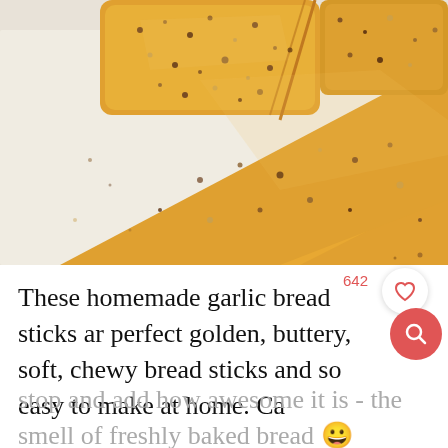[Figure (photo): Close-up photo of homemade garlic bread sticks on a baking sheet lined with parchment paper, showing golden-brown tops sprinkled with herbs and sesame seeds, with one piece pulled away from the loaf.]
642
These homemade garlic bread sticks ar perfect golden, buttery, soft, chewy bread sticks and so easy to make at home. Ca
stop and add how awesome it is - the smell of freshly baked bread 😀